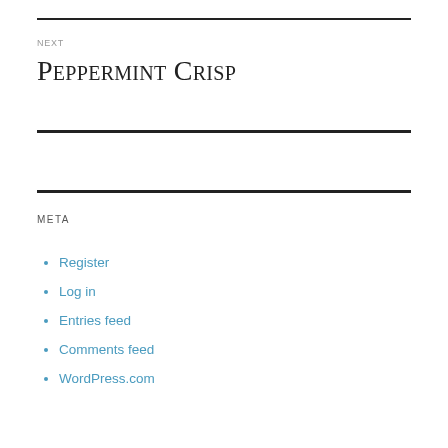NEXT
Peppermint Crisp
META
Register
Log in
Entries feed
Comments feed
WordPress.com